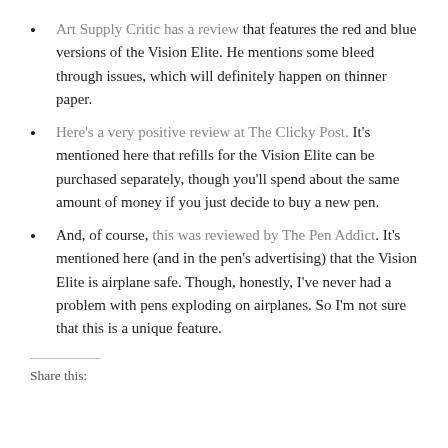Art Supply Critic has a review that features the red and blue versions of the Vision Elite. He mentions some bleed through issues, which will definitely happen on thinner paper.
Here's a very positive review at The Clicky Post. It's mentioned here that refills for the Vision Elite can be purchased separately, though you'll spend about the same amount of money if you just decide to buy a new pen.
And, of course, this was reviewed by The Pen Addict. It's mentioned here (and in the pen's advertising) that the Vision Elite is airplane safe. Though, honestly, I've never had a problem with pens exploding on airplanes. So I'm not sure that this is a unique feature.
Share this: